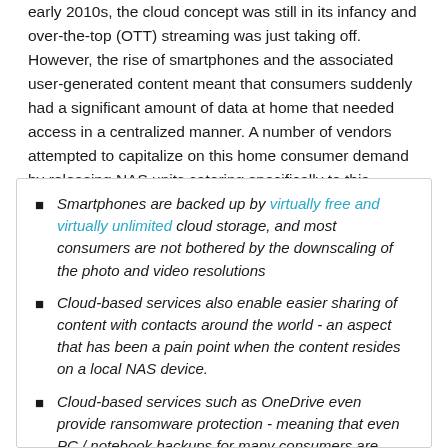early 2010s, the cloud concept was still in its infancy and over-the-top (OTT) streaming was just taking off. However, the rise of smartphones and the associated user-generated content meant that consumers suddenly had a significant amount of data at home that needed access in a centralized manner. A number of vendors attempted to capitalize on this home consumer demand by releasing NAS units catering specifically to this market segment. Fast forward to 2020, and a number of things have changed on the home consumer front:
Smartphones are backed up by virtually free and virtually unlimited cloud storage, and most consumers are not bothered by the downscaling of the photo and video resolutions
Cloud-based services also enable easier sharing of content with contacts around the world - an aspect that has been a pain point when the content resides on a local NAS device.
Cloud-based services such as OneDrive even provide ransomware protection - meaning that even PC / notebook backups for many consumers are moving to the cloud
Physical media usage has dropped down considerably,